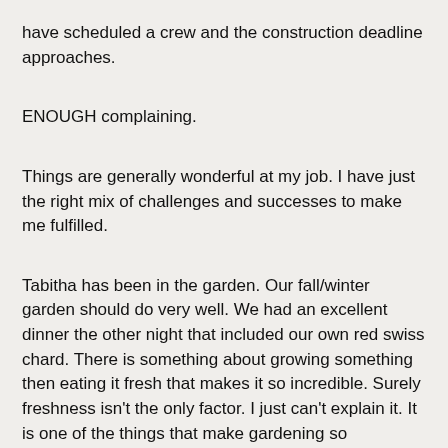have scheduled a crew and the construction deadline approaches.
ENOUGH complaining.
Things are generally wonderful at my job. I have just the right mix of challenges and successes to make me fulfilled.
Tabitha has been in the garden. Our fall/winter garden should do very well. We had an excellent dinner the other night that included our own red swiss chard. There is something about growing something then eating it fresh that makes it so incredible. Surely freshness isn't the only factor. I just can't explain it. It is one of the things that make gardening so rewarding.
And then there is this...
[Figure (photo): Two garden photos side by side: left shows dense green leafy plants growing on a trellis or wall; right shows bare metal trellis/frame with sparse plants on a light-colored wall.]